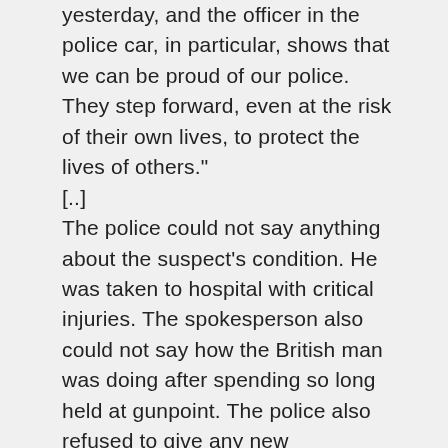yesterday, and the officer in the police car, in particular, shows that we can be proud of our police. They step forward, even at the risk of their own lives, to protect the lives of others."
[..]
The police could not say anything about the suspect's condition. He was taken to hospital with critical injuries. The spokesperson also could not say how the British man was doing after spending so long held at gunpoint. The police also refused to give any new information about the two homes they searched in Amsterdam or about the “bomb vest” the hostage-taker was allegedly wearing.